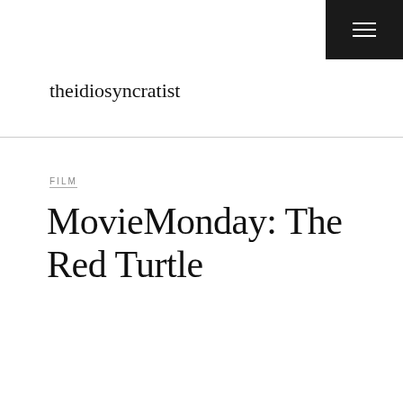theidiosyncratist
FILM
MovieMonday: The Red Turtle